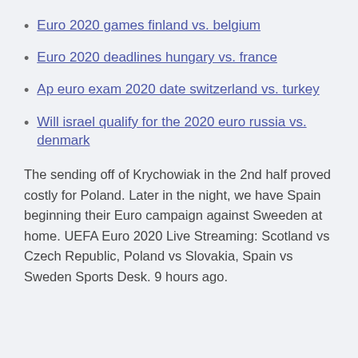Euro 2020 games finland vs. belgium
Euro 2020 deadlines hungary vs. france
Ap euro exam 2020 date switzerland vs. turkey
Will israel qualify for the 2020 euro russia vs. denmark
The sending off of Krychowiak in the 2nd half proved costly for Poland. Later in the night, we have Spain beginning their Euro campaign against Sweeden at home. UEFA Euro 2020 Live Streaming: Scotland vs Czech Republic, Poland vs Slovakia, Spain vs Sweden Sports Desk. 9 hours ago.